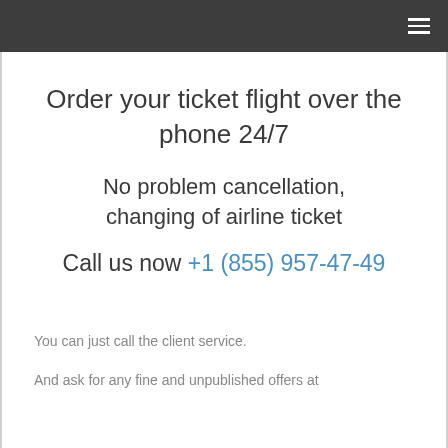≡
Order your ticket flight over the phone 24/7
No problem cancellation, changing of airline ticket
Call us now +1 (855) 957-47-49
You can just call the client service.
And ask for any fine and unpublished offers at